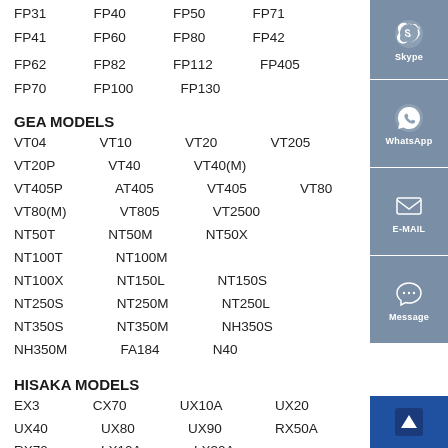FP31 FP40 FP50 FP71 FP41 FP60 FP80 FP42
FP62 FP82 FP112 FP405 FP70 FP100 FP130
GEA MODELS
VT04 VT10 VT20 VT205 VT20P VT40 VT40(M)
VT405P AT405 VT405 VT80 VT80(M) VT805 VT2500
NT50T NT50M NT50X NT100T NT100M
NT100X NT150L NT150S NT250S NT250M NT250L
NT350S NT350M NH350S NH350M FA184 N40
HISAKA MODELS
EX3 CX70 UX10A UX20 UX40 UX80 UX90 RX50A
RX70 LX10A LX30A
API Schmidt MODELS
Sigma09 Sigma13 Sigma26 Sigma36 Sigma37 Sigma2x
Sigma35i Sigma35 Sigma35 Sigma55 Sigma85 Sigma100